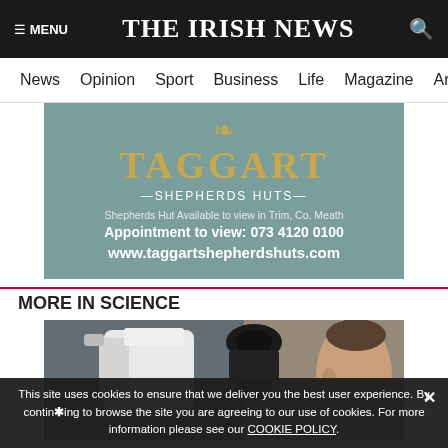THE IRISH NEWS
News | Opinion | Sport | Business | Life | Magazine | Arts
[Figure (photo): Taggart Shepherds Huts advertisement banner. Teal/sage green background with gold TAGGART text and shepherd hut crown logo. Text reads: TAGGART –SHEPHERDS HUTS– Shepherds Hut Available to view in Trim, Co. Meath. Appointment to view: 073 4120 0100. www.taggartshepherdshuts.com]
MORE IN SCIENCE
[Figure (photo): Close-up photo of a person looking through a microscope eyepiece in a laboratory setting. White microscope body and black eyepiece visible. Person's face partially visible on the right.]
This site uses cookies to ensure that we deliver you the best user experience. By continuing to browse the site you are agreeing to our use of cookies. For more information please see our COOKIE POLICY.